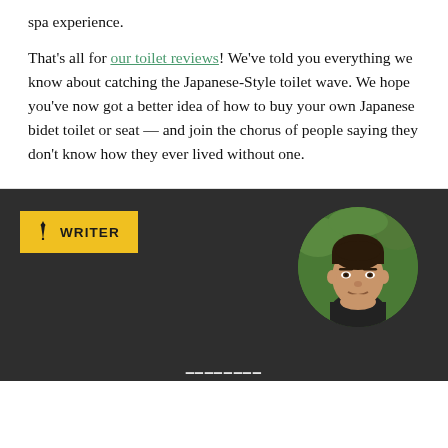spa experience.
That's all for our toilet reviews! We've told you everything we know about catching the Japanese-Style toilet wave. We hope you've now got a better idea of how to buy your own Japanese bidet toilet or seat — and join the chorus of people saying they don't know how they ever lived without one.
[Figure (photo): Dark background author bio section with a yellow 'WRITER' badge on the left and a circular headshot photo of a man with dark hair on the right, with partial author name text at the bottom]